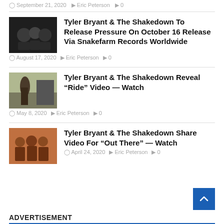September 21, 2020  Eric Peterson  0
[Figure (photo): Band photo of Tyler Bryant & The Shakedown, dark background]
Tyler Bryant & The Shakedown To Release Pressure On October 16 Release Via Snakefarm Records Worldwide
August 17, 2020  Eric Peterson  0
[Figure (photo): Person outdoors near a vehicle]
Tyler Bryant & The Shakedown Reveal “Ride” Video — Watch
May 8, 2020  Eric Peterson  0
[Figure (photo): Band photo of Tyler Bryant & The Shakedown, warm tones]
Tyler Bryant & The Shakedown Share Video For “Out There” — Watch
April 24, 2020  Eric Peterson  0
ADVERTISEMENT